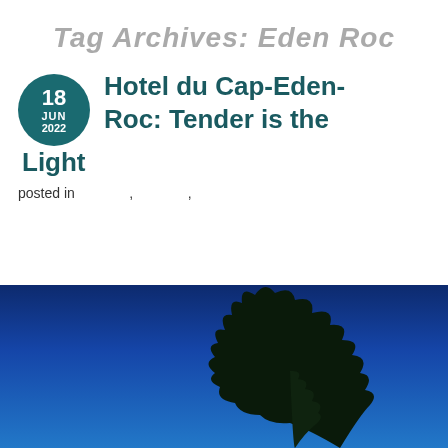Tag Archives: Eden Roc
Hotel du Cap-Eden-Roc: Tender is the Light
posted in , ,
[Figure (photo): Blue sky with dark tree silhouette at bottom right corner]